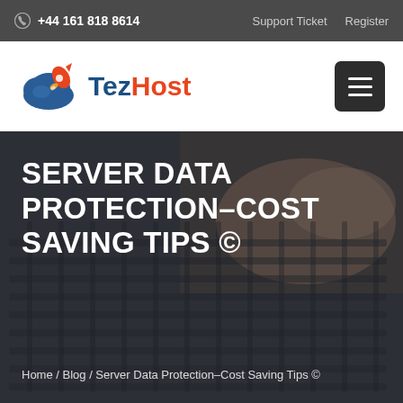+44 161 818 8614  |  Support Ticket  Register
[Figure (logo): TezHost logo with blue cloud and red rocket icon, company name 'TezHost' with 'Tez' in dark blue and 'Host' in orange-red]
SERVER DATA PROTECTION–COST SAVING TIPS ©
Home / Blog / Server Data Protection–Cost Saving Tips ©